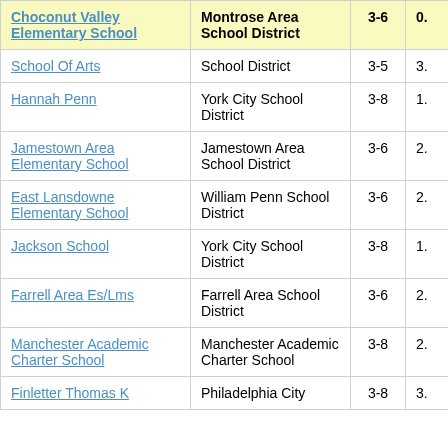| School Name | District | Grades | Value |
| --- | --- | --- | --- |
| Choconut Valley Elementary School | Montrose Area School District | 3-6 | 0. |
| School Of Arts | School District | 3-5 | 3. |
| Hannah Penn | York City School District | 3-8 | 1. |
| Jamestown Area Elementary School | Jamestown Area School District | 3-6 | 2. |
| East Lansdowne Elementary School | William Penn School District | 3-6 | 2. |
| Jackson School | York City School District | 3-8 | 1. |
| Farrell Area Es/Lms | Farrell Area School District | 3-6 | 2. |
| Manchester Academic Charter School | Manchester Academic Charter School | 3-8 | 2. |
| Finletter Thomas K | Philadelphia City | 3-8 | 3. |